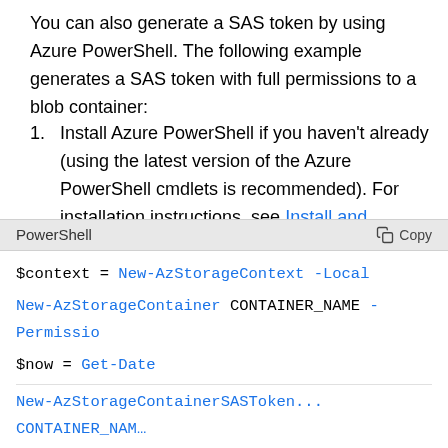You can also generate a SAS token by using Azure PowerShell. The following example generates a SAS token with full permissions to a blob container:
Install Azure PowerShell if you haven't already (using the latest version of the Azure PowerShell cmdlets is recommended). For installation instructions, see Install and configure Azure PowerShell.
Open Azure PowerShell and run the following commands, replacing CONTAINER_NAME with a name of your choosing:
$context = New-AzStorageContext -Local
New-AzStorageContainer CONTAINER_NAME -Permission...
$now = Get-Date
New-AzStorageContainerSASToken...